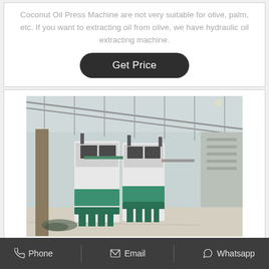Coconut Oil Press Machine are not very suitable for olive, palm, etc. If you want to extracting oil from olive, we have hydraulic oil extracting machine.
[Figure (other): Button labeled 'Get Price' with dark rounded rectangle background]
[Figure (photo): Industrial factory interior showing large green and white oil press machines lined up in a warehouse with a metal roof structure]
Food safety Black seed Oil Mill Jatropha Oil Press Machine
Phone   Email   Whatsapp